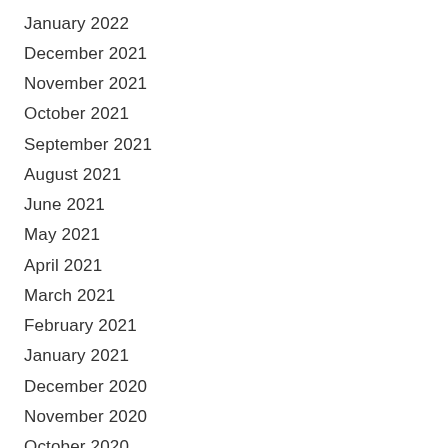January 2022
December 2021
November 2021
October 2021
September 2021
August 2021
June 2021
May 2021
April 2021
March 2021
February 2021
January 2021
December 2020
November 2020
October 2020